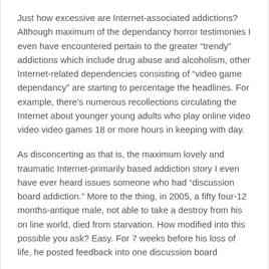Just how excessive are Internet-associated addictions? Although maximum of the dependancy horror testimonies I even have encountered pertain to the greater “trendy” addictions which include drug abuse and alcoholism, other Internet-related dependencies consisting of “video game dependancy” are starting to percentage the headlines. For example, there’s numerous recollections circulating the Internet about younger young adults who play online video video video games 18 or more hours in keeping with day.
As disconcerting as that is, the maximum lovely and traumatic Internet-primarily based addiction story I even have ever heard issues someone who had “discussion board addiction.” More to the thing, in 2005, a fifty four-12 months-antique male, not able to take a destroy from his on line world, died from starvation. How modified into this possible you ask? Easy. For 7 weeks before his loss of life, he posted feedback into one discussion board